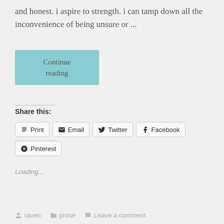and honest. i aspire to strength. i can tamp down all the inconvenience of being unsure or ...
[Figure (other): Teal/aqua 'Continue reading' button]
Share this:
[Figure (other): Share buttons: Print, Email, Twitter, Facebook, Tumblr, Pinterest]
Loading...
raven   prose   Leave a comment